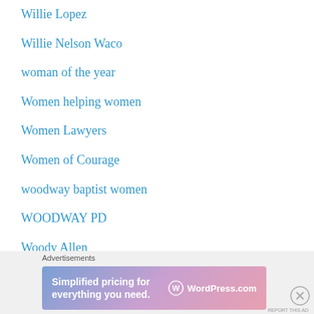Willie Lopez
Willie Nelson Waco
woman of the year
Women helping women
Women Lawyers
Women of Courage
woodway baptist women
WOODWAY PD
Woody Allen
YELLOWSTONE
You can't make it up
Advertisements
[Figure (other): WordPress.com advertisement banner: 'Simplified pricing for everything you need.']